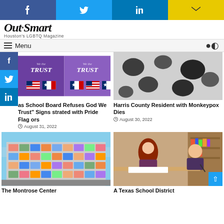Social share bar: Facebook, Twitter, LinkedIn, Email
[Figure (logo): Out Smart - Houston's LGBTQ Magazine logo]
Menu
[Figure (photo): Two 'In God We Trust' sign panels with US and Texas flags on purple background]
as School Board Refuses God We Trust" Signs strated with Pride Flag ors
August 31, 2022
[Figure (photo): Electron microscope image of monkeypox virus particles - black and white]
Harris County Resident with Monkeypox Dies
August 30, 2022
[Figure (photo): The Montrose Center colorful building exterior]
The Montrose Center
[Figure (photo): A Texas School District - students in classroom]
A Texas School District